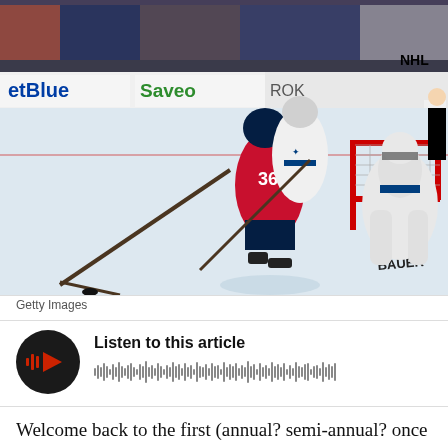[Figure (photo): NHL hockey game action photo showing Florida Panthers player #36 in red/navy uniform battling near the net against Toronto Maple Leafs players in white uniforms. A Maple Leafs goalie in white/blue gear crouches at the right. Rink boards show JetBlue and Saveo advertisements. BAUER equipment visible on goalie. Referee in black and white visible in background.]
Getty Images
[Figure (other): Audio player widget with circular black play button featuring red waveform bars and a red triangle play icon, with waveform visualization to the right]
Listen to this article
Welcome back to the first (annual? semi-annual? once every five years?) installment of the LBC All-Time